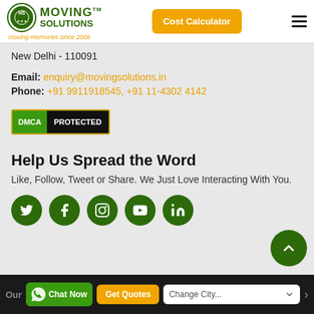[Figure (logo): Moving Solutions logo with circular MS emblem, green MOVING SOLUTIONS text, and orange tagline 'moving memories since 2006']
[Figure (other): Orange 'Cost Calculator' button]
[Figure (other): Hamburger menu icon]
New Delhi - 110091
Email: enquiry@movingsolutions.in
Phone: +91 9911918545, +91 11-4302 4142
[Figure (other): DMCA Protected badge]
Help Us Spread the Word
Like, Follow, Tweet or Share. We Just Love Interacting With You.
[Figure (other): Social media icons: Twitter, Facebook, Instagram, YouTube, LinkedIn]
Our  Chat Now  Get Quotes  Change City...